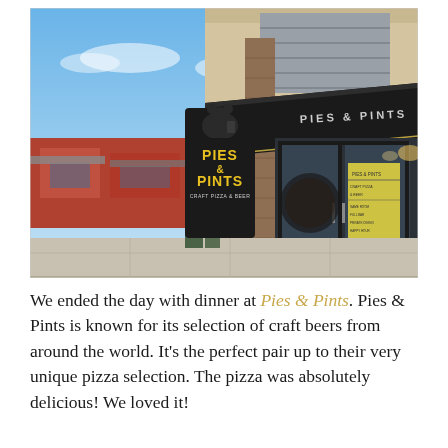[Figure (photo): Exterior photo of Pies & Pints restaurant showing the storefront with a large black awning labeled 'PIES & PINTS', a prominent black sign featuring a bear silhouette holding a pizza and beer with 'PIES & PINTS CRAFT PIZZA & BEER' in yellow letters, glass entrance doors, and a shopping center in the background on a clear day.]
We ended the day with dinner at Pies & Pints. Pies & Pints is known for its selection of craft beers from around the world. It's the perfect pair up to their very unique pizza selection. The pizza was absolutely delicious! We loved it!